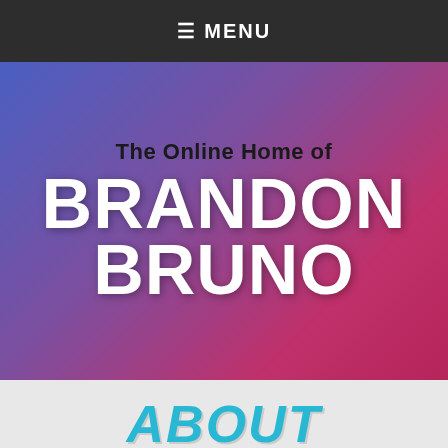≡ MENU
The Online Home of BRANDON BRUNO
ABOUT
Software Engineer, Hiker, Photographer
[Figure (photo): Partial photo strip visible at bottom of page]